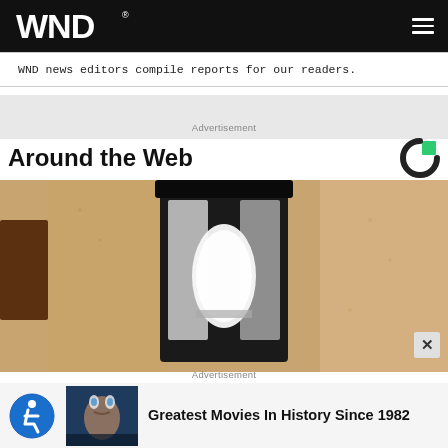WND
WND news editors compile reports for our readers.
Advertisement
Around the Web
[Figure (photo): Close-up photograph of a black outdoor wall lantern mounted on a stucco/textured wall, with a white frosted glass bulb inside the dark metal frame.]
Advertisement
Greatest Movies In History Since 1982